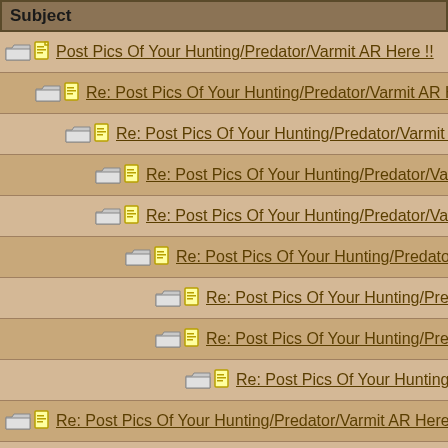Subject
Post Pics Of Your Hunting/Predator/Varmit AR Here !!
Re: Post Pics Of Your Hunting/Predator/Varmit AR Here !!
Re: Post Pics Of Your Hunting/Predator/Varmit AR Here !!
Re: Post Pics Of Your Hunting/Predator/Varmit AR Here !!
Re: Post Pics Of Your Hunting/Predator/Varmit AR Here !!
Re: Post Pics Of Your Hunting/Predator/Varmit AR Here
Re: Post Pics Of Your Hunting/Predator/Varmit AR He
Re: Post Pics Of Your Hunting/Predator/Varmit AR Here
Re: Post Pics Of Your Hunting/Predator/Varmit AR He
Re: Post Pics Of Your Hunting/Predator/Varmit AR Here !!
Re: Post Pics Of Your Hunting/Predator/Varmit AR Here !!
Re: Post Pics Of Your Hunting/Predator/Varmit AR Here !!
Re: Post Pics Of Your Hunting/Predator/Varmit AR Here
Re: Post Pics Of Your Hunting/Predator/Varmit AR He
Re: Post Pics Of Your Hunting/Predator/Varmit AR H
Re: Post Pics Of Your Hunting/Predator/Varmit AP
Re: Post Pics Of Your Hunting/Predator/Varmit